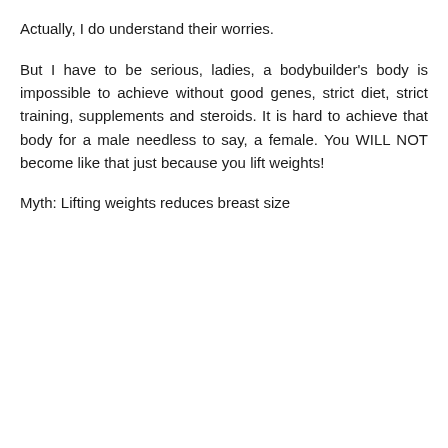Actually, I do understand their worries.
But I have to be serious, ladies, a bodybuilder's body is impossible to achieve without good genes, strict diet, strict training, supplements and steroids. It is hard to achieve that body for a male needless to say, a female. You WILL NOT become like that just because you lift weights!
Myth: Lifting weights reduces breast size